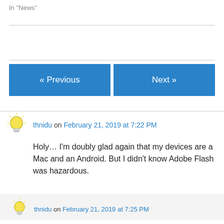In "News"
February 21, 2019
« Previous
Next »
thnidu on February 21, 2019 at 7:22 PM
Holy… I'm doubly glad again that my devices are a Mac and an Android. But I didn't know Adobe Flash was hazardous.
thnidu on February 21, 2019 at 7:25 PM